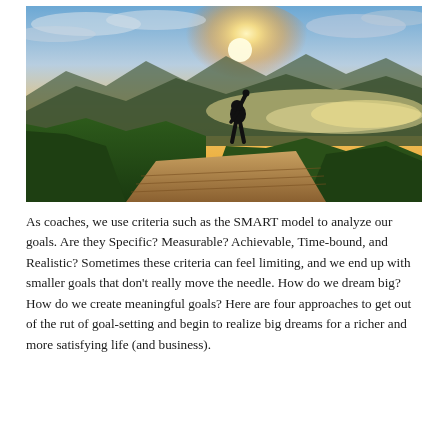[Figure (photo): A silhouette of a person standing on a wooden deck/platform atop a mountain, raising one fist in triumph. The background shows a dramatic golden sunrise over misty mountain ranges with lush green vegetation in the foreground.]
As coaches, we use criteria such as the SMART model to analyze our goals. Are they Specific? Measurable? Achievable, Time-bound, and Realistic? Sometimes these criteria can feel limiting, and we end up with smaller goals that don't really move the needle. How do we dream big? How do we create meaningful goals? Here are four approaches to get out of the rut of goal-setting and begin to realize big dreams for a richer and more satisfying life (and business).